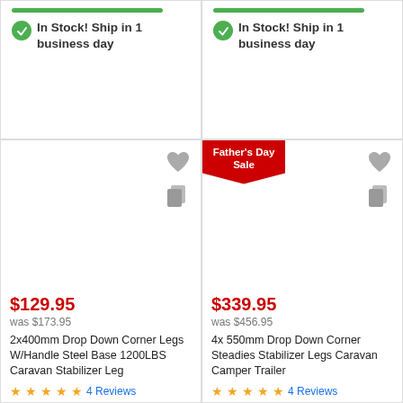In Stock! Ship in 1 business day
In Stock! Ship in 1 business day
[Figure (other): Product card: 2x400mm Drop Down Corner Legs W/Handle Steel Base 1200LBS Caravan Stabilizer Leg, $129.95, was $173.95, 4 Reviews]
[Figure (other): Product card with Father's Day Sale badge: 4x 550mm Drop Down Corner Steadies Stabilizer Legs Caravan Camper Trailer, $339.95, was $456.95, 4 Reviews]